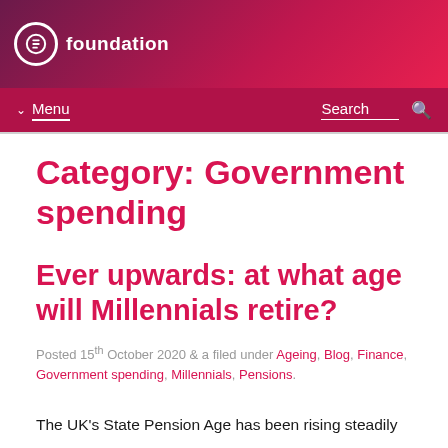foundation — Menu | Search
Category: Government spending
Ever upwards: at what age will Millennials retire?
Posted 15th October 2020 & a filed under Ageing, Blog, Finance, Government spending, Millennials, Pensions.
The UK's State Pension Age has been rising steadily